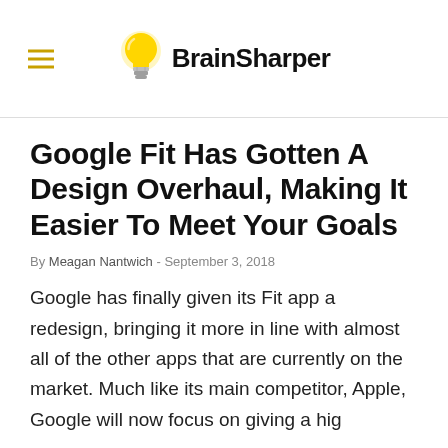BrainSharper
Google Fit Has Gotten A Design Overhaul, Making It Easier To Meet Your Goals
By Meagan Nantwich - September 3, 2018
Google has finally given its Fit app a redesign, bringing it more in line with almost all of the other apps that are currently on the market. Much like its main competitor, Apple, Google will…